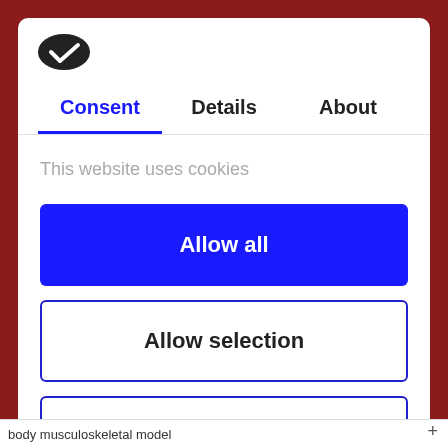[Figure (logo): Cookiebot logo — dark oval shield with white checkmark]
Consent	Details	About
This website uses cookies
Allow all
Allow selection
Deny
Powered by Cookiebot by Usercentrics
body musculoskeletal model